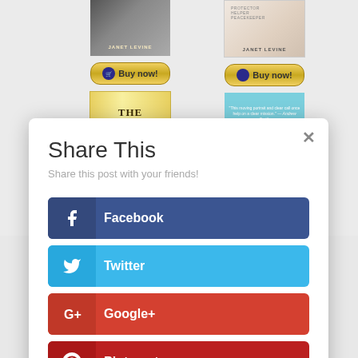[Figure (screenshot): Background showing book covers and Buy now buttons for Janet Levine books]
Share This
Share this post with your friends!
Facebook
Twitter
Google+
Pinterest